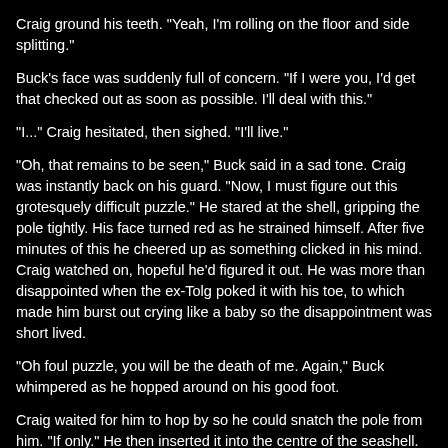Craig ground his teeth. "Yeah, I'm rolling on the floor and side splitting."
Buck's face was suddenly full of concern. "If I were you, I'd get that checked out as soon as possible. I'll deal with this."
"I..." Craig hesitated, then sighed. "I'll live."
"Oh, that remains to be seen," Buck said in a sad tone. Craig was instantly back on his guard. "Now, I must figure out this grotesquely difficult puzzle." He stared at the shell, gripping the pole tightly. His face turned red as he strained himself. After five minutes of this he cheered up as something clicked in his mind. Craig watched on, hopeful he'd figured it out. He was more than disappointed when the ex-Tolg poked it with his toe, to which made him burst out crying like a baby so the disappointment was short lived.
"Oh foul puzzle, you will be the death of me. Again," Buck whimpered as he hopped around on his good foot.
Craig waited for him to hop by so he could snatch the pole from him. "If only." He then inserted it into the centre of the seashell. When nothing happened other than Buck sucking his thumb, Craig sheepishly brought it back out and flipped it around to try again. Still nothing other than a catchy chorus of I want my mummy. Once more he flipped it around. This time the ground briefly trembled and the pole clicked to Craig's left on its own. The alter clicked, getting both men's attention.
Buck immediately decided he was better and slapped Craig once more on the shoulder. He didn't expect it and so jumped a few feet. "Wow lad, you